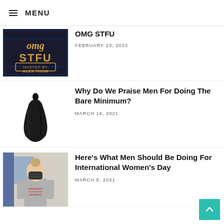≡ MENU
OMG STFU
FEBRUARY 23, 2022
Why Do We Praise Men For Doing The Bare Minimum?
MARCH 16, 2021
Here's What Men Should Be Doing For International Women's Day
MARCH 8, 2021